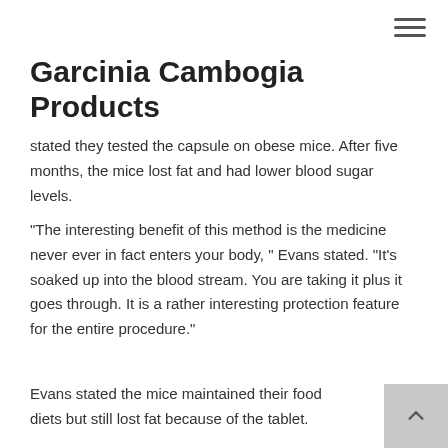Garcinia Cambogia Products
stated they tested the capsule on obese mice. After five months, the mice lost fat and had lower blood sugar levels.
"The interesting benefit of this method is the medicine never ever in fact enters your body, " Evans stated. "It's soaked up into the blood stream. You are taking it plus it goes through. It is a rather interesting protection feature for the entire procedure."
Evans stated the mice maintained their food diets but still lost fat because of the tablet.